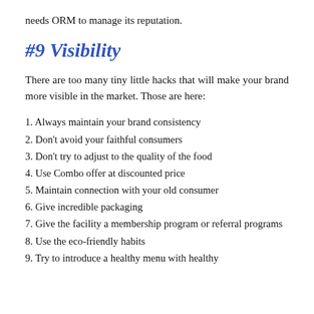needs ORM to manage its reputation.
#9 Visibility
There are too many tiny little hacks that will make your brand more visible in the market. Those are here:
1. Always maintain your brand consistency
2. Don't avoid your faithful consumers
3. Don't try to adjust to the quality of the food
4. Use Combo offer at discounted price
5. Maintain connection with your old consumer
6. Give incredible packaging
7. Give the facility a membership program or referral programs
8. Use the eco-friendly habits
9. Try to introduce a healthy menu with healthy